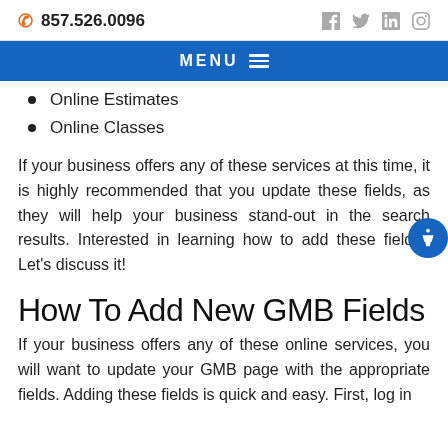857.526.0096
Online Estimates
Online Classes
If your business offers any of these services at this time, it is highly recommended that you update these fields, as they will help your business stand-out in the search results. Interested in learning how to add these fields? Let's discuss it!
How To Add New GMB Fields
If your business offers any of these online services, you will want to update your GMB page with the appropriate fields. Adding these fields is quick and easy. First, log in